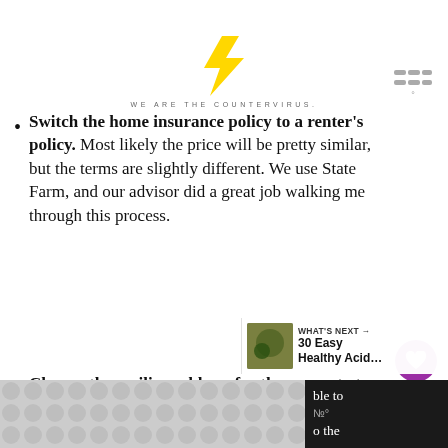[Figure (logo): Yellow lightning bolt logo above the tagline WE ARE THE COUNTERVIRUS]
WE ARE THE COUNTERVIRUS.
Switch the home insurance policy to a renter's policy. Most likely the price will be pretty similar, but the terms are slightly different. We use State Farm, and our advisor did a great job walking me through this process.
Change the mailing address for the property tax statement. You will continue to make the property tax payments, so you'll want to receive statements at your new address. Contact
ble to
o the